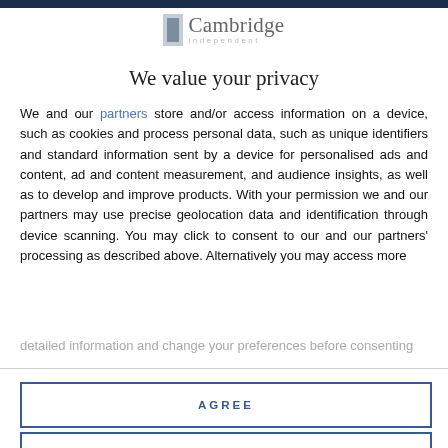[Figure (logo): Cambridge Independent logo — grey book icon with 'Cambridge' text and 'independent' subtitle]
We value your privacy
We and our partners store and/or access information on a device, such as cookies and process personal data, such as unique identifiers and standard information sent by a device for personalised ads and content, ad and content measurement, and audience insights, as well as to develop and improve products. With your permission we and our partners may use precise geolocation data and identification through device scanning. You may click to consent to our and our partners' processing as described above. Alternatively you may access more detailed information and change your preferences before consenting
AGREE
MORE OPTIONS
will simply cease to exist in any meaningful way as they